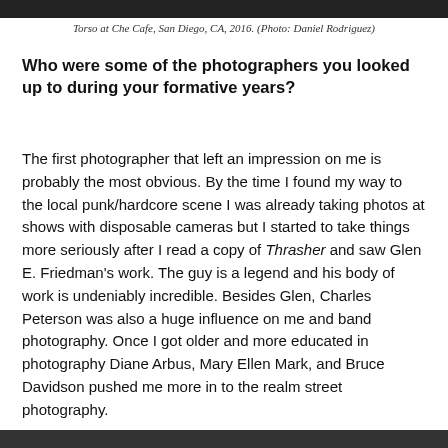[Figure (photo): Top edge of a black and white photo, cropped at the top of the page]
Torso at Che Cafe, San Diego, CA, 2016. (Photo: Daniel Rodriguez)
Who were some of the photographers you looked up to during your formative years?
The first photographer that left an impression on me is probably the most obvious. By the time I found my way to the local punk/hardcore scene I was already taking photos at shows with disposable cameras but I started to take things more seriously after I read a copy of Thrasher and saw Glen E. Friedman’s work. The guy is a legend and his body of work is undeniably incredible. Besides Glen, Charles Peterson was also a huge influence on me and band photography. Once I got older and more educated in photography Diane Arbus, Mary Ellen Mark, and Bruce Davidson pushed me more in to the realm street photography.
[Figure (photo): Bottom edge of a black and white photo, cropped at the bottom of the page]